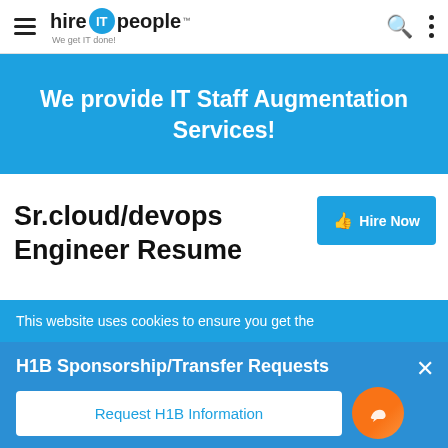hire IT people — We get IT done!
We provide IT Staff Augmentation Services!
Sr.cloud/devops Engineer Resume
Hire Now
This website uses cookies to ensure you get the
H1B Sponsorship/Transfer Requests
Request H1B Information